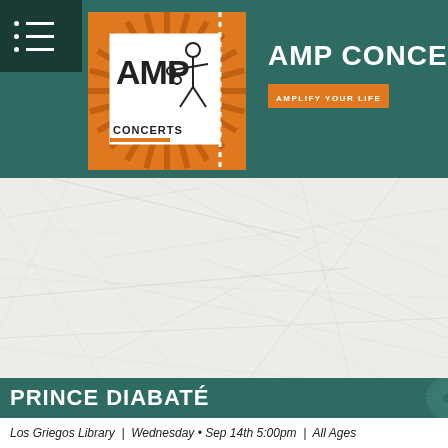[Figure (logo): AMP Concerts logo with sunburst orange background and stick figure playing instrument, with dotted border on right side]
AMP CONCERTS
AMPLIFY YOUR LIFE
[Figure (photo): Textured light gray/white scratched surface background filling the middle section of the page]
PRINCE DIABATÉ
Los Griegos Library  |  Wednesday • Sep 14th 5:00pm  |  All Ages